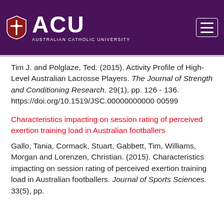ACU — Australian Catholic University
Tim J. and Polglaze, Ted. (2015). Activity Profile of High-Level Australian Lacrosse Players. The Journal of Strength and Conditioning Research. 29(1), pp. 126 - 136. https://doi.org/10.1519/JSC.00000000000 00599
Characteristics impacting on session rating of perceived exertion training load in Australian footballers
Gallo, Tania, Cormack, Stuart, Gabbett, Tim, Williams, Morgan and Lorenzen, Christian. (2015). Characteristics impacting on session rating of perceived exertion training load in Australian footballers. Journal of Sports Sciences. 33(5), pp.